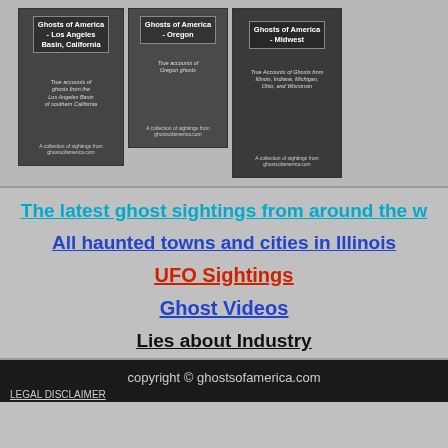[Figure (illustration): Three book covers for Ghosts of America series: Los Angeles Basin California, Oregon, and Midwest]
The latest ghost sightings from around the w...
All haunted towns and cities in Illinois...
UFO Sightings
Ghost Videos
Lies about Industry
copyright © ghostsofamerica.com
LEGAL DISCLAIMER